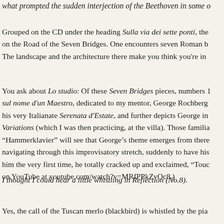what prompted the sudden interjection of the Beethoven in some o
Grouped on the CD under the heading Sulla via dei sette ponti, the on the Road of the Seven Bridges. One encounters seven Roman b The landscape and the architecture there make you think you're in
You ask about Lo studio: Of these Seven Bridges pieces, numbers 1 sul nome d'un Maestro, dedicated to my mentor, George Rochberg his very Italianate Serenata d'Estate, and further depicts George in Variations (which I was then practicing, at the villa). Those familia "Hammerklavier" will see that George's theme emerges from there navigating through this improvisatory stretch, suddenly to have his him the very first time, he totally cracked up and exclaimed, "Touc on YouTube at youtube.com/watch?v=MRfPPkZvOc8.)
I thought I could hear a little whistling in Reflection (No.8).
Yes, the call of the Tuscan merlo (blackbird) is whistled by the pia